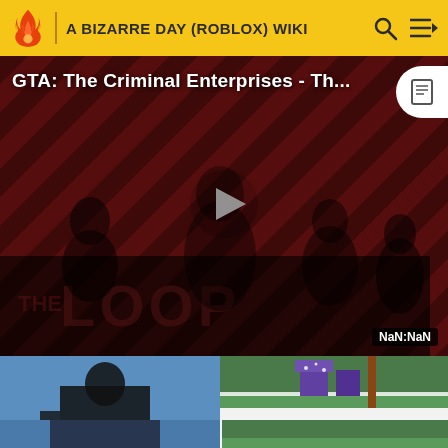A BIZARRE DAY (ROBLOX) WIKI
[Figure (screenshot): Video thumbnail for GTA: The Criminal Enterprises showing characters against a red diagonal striped background with THE LOOP branding, a play button in center, and NaN:NaN timestamp]
[Figure (screenshot): Roblox game screenshot showing Retro Star Platinum character in purple costume standing on green ground]
Retro Star Platinum's old pose.
[Figure (screenshot): Roblox game screenshot with blue sky background, partial view]
[Figure (screenshot): Roblox game screenshot with dark green background, partial view]